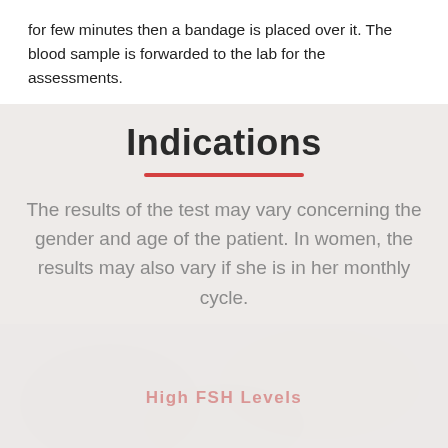for few minutes then a bandage is placed over it. The blood sample is forwarded to the lab for the assessments.
Indications
The results of the test may vary concerning the gender and age of the patient. In women, the results may also vary if she is in her monthly cycle.
[Figure (other): Watermark text reading 'High FSH Levels' overlaid on a blurred background image]
[Figure (illustration): Green circular WhatsApp chat button icon in bottom left corner]